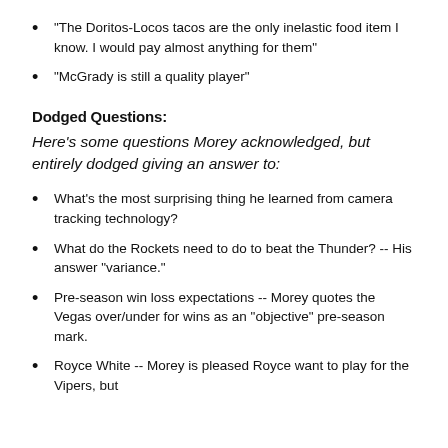"The Doritos-Locos tacos are the only inelastic food item I know. I would pay almost anything for them"
"McGrady is still a quality player"
Dodged Questions:
Here's some questions Morey acknowledged, but entirely dodged giving an answer to:
What's the most surprising thing he learned from camera tracking technology?
What do the Rockets need to do to beat the Thunder? -- His answer "variance."
Pre-season win loss expectations -- Morey quotes the Vegas over/under for wins as an "objective" pre-season mark.
Royce White -- Morey is pleased Royce want to play for the Vipers, but